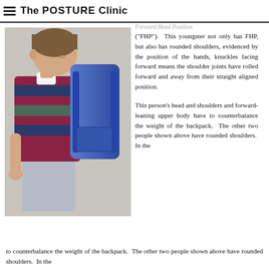The POSTURE Clinic
[Figure (photo): Side profile photo of a young child wearing a striped red/blue/grey rugby shirt and carrying a large blue backpack. The child's head is forward and shoulders are rounded. The child is standing against a light wall.]
Forward Head Position ("FHP"). This youngster not only has FHP, but also has rounded shoulders, evidenced by the position of the hands, knuckles facing forward means the shoulder joints have rolled forward and away from their straight aligned position.

This person's head and shoulders and forward-leaning upper body have to counterbalance the weight of the backpack. The other two people shown above have rounded shoulders. In the
to counterbalance the weight of the backpack. The other two people shown above have rounded shoulders. In the